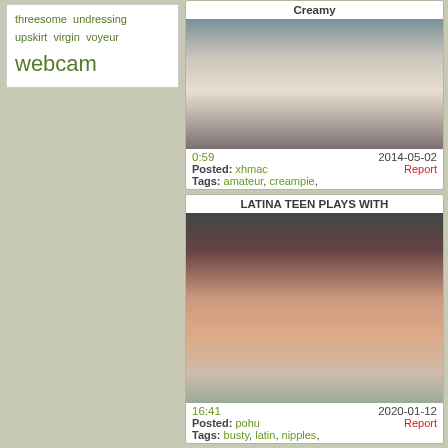threesome  undressing  upskirt  virgin  voyeur  webcam
Creamy
[Figure (photo): Video thumbnail showing a person on webcam]
0:59    2014-05-02
Posted: xhmac    Report
Tags: amateur, creampie,
LATINA TEEN PLAYS WITH
[Figure (photo): Video thumbnail showing a person]
16:41    2020-01-12
Posted: pohu    Report
Tags: busty, latin, nipples,
Teens Experiment With Step